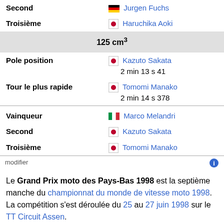| Second | Jurgen Fuchs |
| Troisième | Haruchika Aoki |
| 125 cm³ |  |
| Pole position | Kazuto Sakata
2 min 13 s 41 |
| Tour le plus rapide | Tomomi Manako
2 min 14 s 378 |
| Vainqueur | Marco Melandri |
| Second | Kazuto Sakata |
| Troisième | Tomomi Manako |
| modifier |  |
Le Grand Prix moto des Pays-Bas 1998 est la septième manche du championnat du monde de vitesse moto 1998. La compétition s'est déroulée du 25 au 27 juin 1998 sur le TT Circuit Assen.
C'est la 50e édition du Grand Prix moto des Pays-Bas.